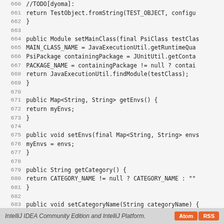[Figure (screenshot): Source code viewer showing Java code lines 660-688 with line numbers on a light gray background]
IntelliJ IDEA Community Edition and IntelliJ Platform.   Atom  RSS